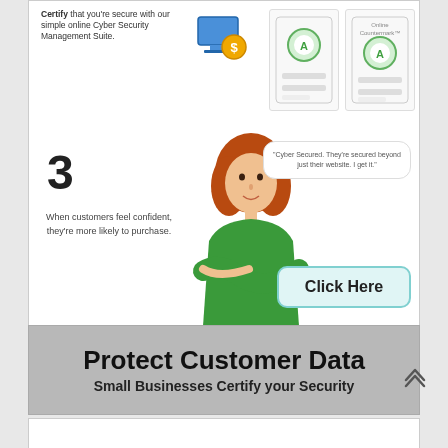[Figure (infographic): Cyber security advertisement showing: top section with 'Certify that you're secure with our simple online Cyber Security Management Suite.' text, a computer/shield icon, and two security certificate badge thumbnails. Lower section shows a large bold '3', a woman in green shirt with arms crossed, a quote bubble saying 'Cyber Secured. They're secured beyond just their website. I get it.', and a 'Click Here' button. Bottom gray banner reads 'Protect Customer Data / Small Businesses Certify your Security'.]
Certify that you're secure with our simple online Cyber Security Management Suite.
3
When customers feel confident, they're more likely to purchase.
"Cyber Secured. They're secured beyond just their website. I get it."
Protect Customer Data
Small Businesses Certify your Security